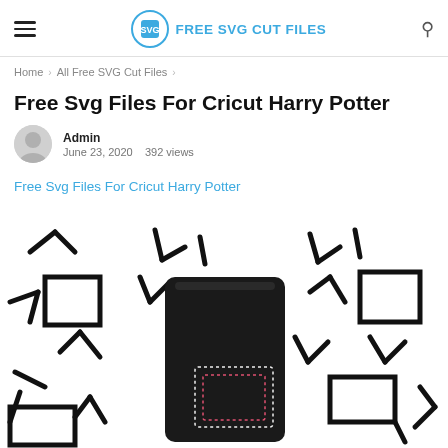FREE SVG CUT FILES
Home > All Free SVG Cut Files >
Free Svg Files For Cricut Harry Potter
Admin
June 23, 2020   392 views
Free Svg Files For Cricut Harry Potter
[Figure (photo): A folded black t-shirt with a Harry Potter design on a white background with black geometric line patterns]